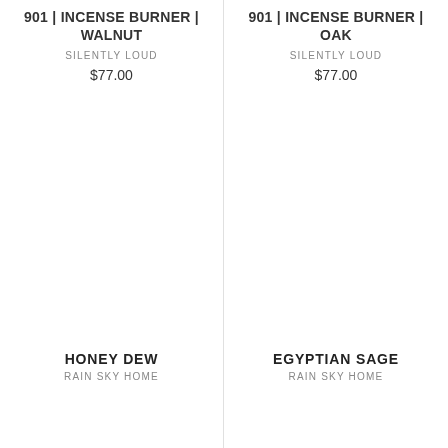901 | INCENSE BURNER | WALNUT
SILENTLY LOUD
$77.00
901 | INCENSE BURNER | OAK
SILENTLY LOUD
$77.00
HONEY DEW
RAIN SKY HOME
EGYPTIAN SAGE
RAIN SKY HOME